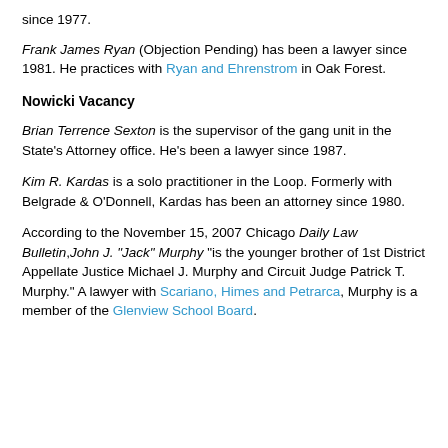since 1977.
Frank James Ryan (Objection Pending) has been a lawyer since 1981. He practices with Ryan and Ehrenstrom in Oak Forest.
Nowicki Vacancy
Brian Terrence Sexton is the supervisor of the gang unit in the State's Attorney office. He's been a lawyer since 1987.
Kim R. Kardas is a solo practitioner in the Loop. Formerly with Belgrade & O'Donnell, Kardas has been an attorney since 1980.
According to the November 15, 2007 Chicago Daily Law Bulletin, John J. "Jack" Murphy "is the younger brother of 1st District Appellate Justice Michael J. Murphy and Circuit Judge Patrick T. Murphy." A lawyer with Scariano, Himes and Petrarca, Murphy is a member of the Glenview School Board.